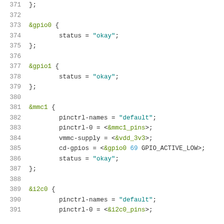Code listing lines 371-391 showing device tree source configuration for gpio0, gpio1, mmc1, and i2c0 nodes
371    };
372    (blank)
373    &gpio0 {
374            status = "okay";
375    };
376    (blank)
377    &gpio1 {
378            status = "okay";
379    };
380    (blank)
381    &mmc1 {
382            pinctrl-names = "default";
383            pinctrl-0 = <&mmc1_pins>;
384            vmmc-supply = <&vdd_3v3>;
385            cd-gpios = <&gpio0 69 GPIO_ACTIVE_LOW>;
386            status = "okay";
387    };
388    (blank)
389    &i2c0 {
390            pinctrl-names = "default";
391            pinctrl-0 = <&i2c0_pins>;